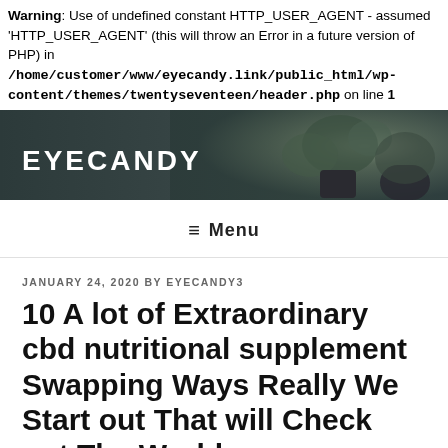Warning: Use of undefined constant HTTP_USER_AGENT - assumed 'HTTP_USER_AGENT' (this will throw an Error in a future version of PHP) in /home/customer/www/eyecandy.link/public_html/wp-content/themes/twentyseventeen/header.php on line 1
[Figure (screenshot): Website header banner with dark background showing potted plant and site title EYECANDY in white uppercase letters]
≡ Menu
JANUARY 24, 2020 BY EYECANDY3
10 A lot of Extraordinary cbd nutritional supplement Swapping Ways Really We Start out That will Check out The World